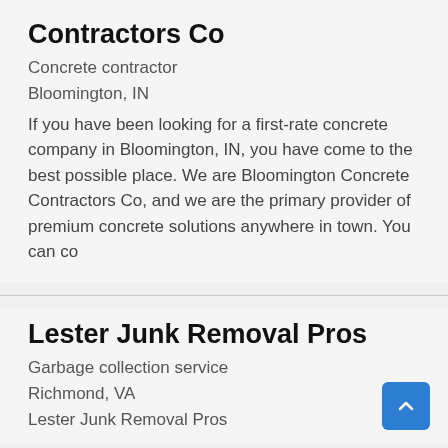Contractors Co
Concrete contractor
Bloomington, IN
If you have been looking for a first-rate concrete company in Bloomington, IN, you have come to the best possible place. We are Bloomington Concrete Contractors Co, and we are the primary provider of premium concrete solutions anywhere in town. You can co
Lester Junk Removal Pros
Garbage collection service
Richmond, VA
Lester Junk Removal Pros